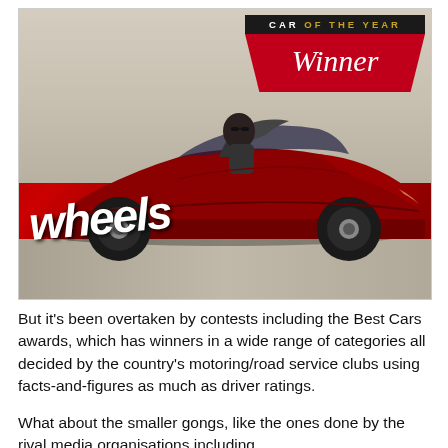[Figure (photo): A red Mazda MX-5 Miata convertible sports car being driven on a road, shot from the side with motion blur in the background. The driver is wearing sunglasses. The Wheels magazine logo appears in white italic text at the bottom left. A 'CAR OF THE YEAR Winner' banner with black header and red panel is in the top right corner.]
But it's been overtaken by contests including the Best Cars awards, which has winners in a wide range of categories all decided by the country's motoring/road service clubs using facts-and-figures as much as driver ratings.
What about the smaller gongs, like the ones done by the rival media organisations including www.drive.com.au, www.caradvice.com.au...